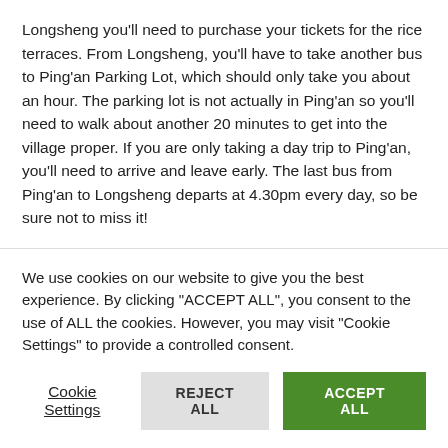Longsheng you'll need to purchase your tickets for the rice terraces. From Longsheng, you'll have to take another bus to Ping'an Parking Lot, which should only take you about an hour. The parking lot is not actually in Ping'an so you'll need to walk about another 20 minutes to get into the village proper. If you are only taking a day trip to Ping'an, you'll need to arrive and leave early. The last bus from Ping'an to Longsheng departs at 4.30pm every day, so be sure not to miss it!
We recommend you bring some warmer clothes with you
We use cookies on our website to give you the best experience. By clicking "ACCEPT ALL", you consent to the use of ALL the cookies. However, you may visit "Cookie Settings" to provide a controlled consent.
Cookie Settings | REJECT ALL | ACCEPT ALL